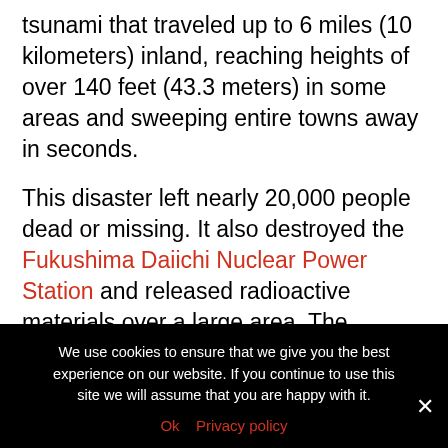tsunami that traveled up to 6 miles (10 kilometers) inland, reaching heights of over 140 feet (43.3 meters) in some areas and sweeping entire towns away in seconds.
This disaster left nearly 20,000 people dead or missing. It also destroyed the Fukushima Daiichi Nuclear Power Station and released radioactive materials over a large area. The accident triggered widespread evacuations, large economic losses and the eventual shutdown of all nuclear power plants in Japan. A decade later the nuclear industry sought to
We use cookies to ensure that we give you the best experience on our website. If you continue to use this site we will assume that you are happy with it.
Ok  Privacy policy